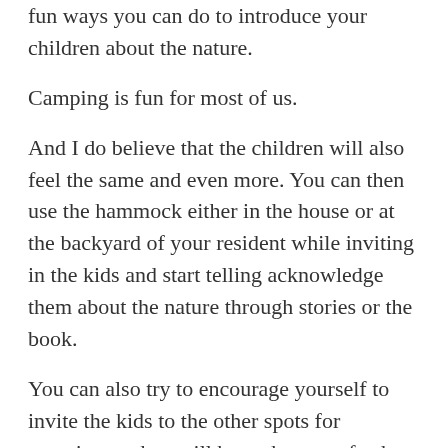fun ways you can do to introduce your children about the nature.
Camping is fun for most of us.
And I do believe that the children will also feel the same and even more. You can then use the hammock either in the house or at the backyard of your resident while inviting in the kids and start telling acknowledge them about the nature through stories or the book.
You can also try to encourage yourself to invite the kids to the other spots for camping so they will be at the more fresher air destinations and start doing all the camping activities that may contributing to the kids knowledge about the nature.
If you are looking for the more fun and interesting way to introduce your children to the environment, hammock camping is truly my first recommendation.
To end this article, I'd like to give you a quote by Thomas Berry which is: